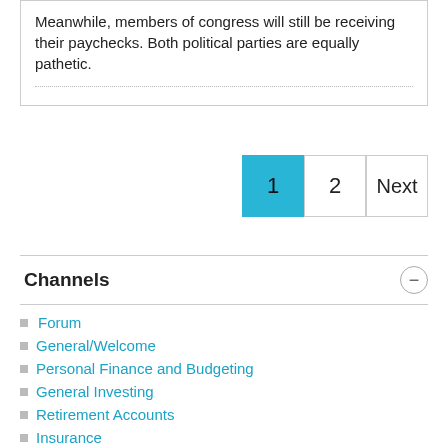Meanwhile, members of congress will still be receiving their paychecks. Both political parties are equally pathetic.
1  2  Next
Channels
Forum
General/Welcome
Personal Finance and Budgeting
General Investing
Retirement Accounts
Insurance
Student Loan Management
Tax Reduction
Mortgages and Home Buying
Financial Advisors
Real Estate Investing
Estate Planning
Asset Protection
Employment, Contracts, Practice Management,